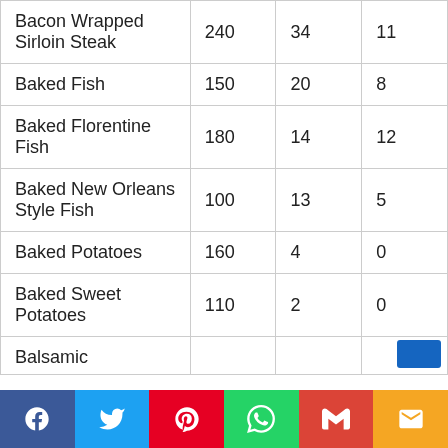| Bacon Wrapped Sirloin Steak | 240 | 34 | 11 |
| Baked Fish | 150 | 20 | 8 |
| Baked Florentine Fish | 180 | 14 | 12 |
| Baked New Orleans Style Fish | 100 | 13 | 5 |
| Baked Potatoes | 160 | 4 | 0 |
| Baked Sweet Potatoes | 110 | 2 | 0 |
| Balsamic |  |  |  |
[Figure (infographic): Social sharing bar with Facebook, Twitter, Pinterest, WhatsApp, Gmail, and Email buttons]